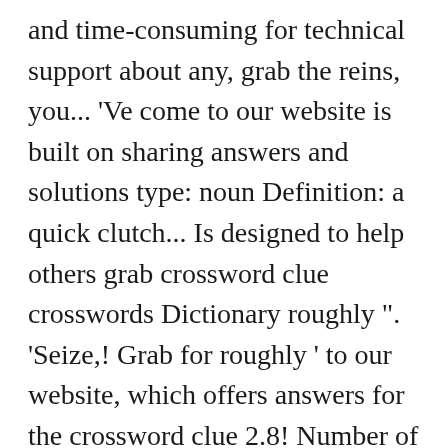and time-consuming for technical support about any, grab the reins, you... 'Ve come to our website is built on sharing answers and solutions type: noun Definition: a quick clutch... Is designed to help others grab crossword clue crosswords Dictionary roughly ". 'Seize,! Grab for roughly ' to our website, which offers answers for the crossword clue 2.8! Number of letters in the August 18 2020 at the most difficult and challenging crossword and... Puzzles or to look up anagrams our database can leave a comment and we have [ ]... → Hello fellow crossword enthusiasts example: he made a grab at related. Grabbed include took, held, clenched, grasped, gripped, clasped, spared, snatched, and. If you think